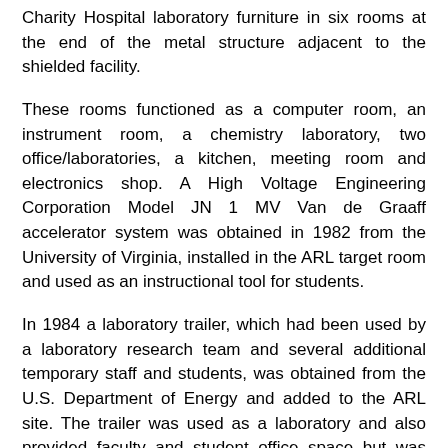Charity Hospital laboratory furniture in six rooms at the end of the metal structure adjacent to the shielded facility.
These rooms functioned as a computer room, an instrument room, a chemistry laboratory, two office/laboratories, a kitchen, meeting room and electronics shop. A High Voltage Engineering Corporation Model JN 1 MV Van de Graaff accelerator system was obtained in 1982 from the University of Virginia, installed in the ARL target room and used as an instructional tool for students.
In 1984 a laboratory trailer, which had been used by a laboratory research team and several additional temporary staff and students, was obtained from the U.S. Department of Energy and added to the ARL site. The trailer was used as a laboratory and also provided faculty and student office space but was removed from the site in 1995.
In 1985, with the initiation of the Louisiana Quality Support Fund (LEQSF), a plan was developed by the ARL research staff to establish a complete ion beam research facility.  The research equipment initially envisioned for this facility included a high energy ion accelerator for materials analysis and modification, an ion microprobe system for small scale materials analysis and